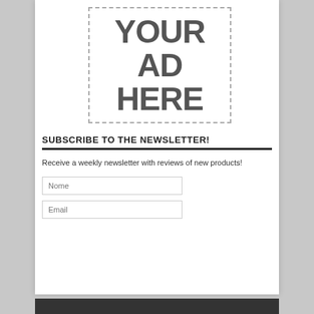[Figure (other): Ad placeholder box with dashed border containing text YOUR AD HERE]
SUBSCRIBE TO THE NEWSLETTER!
Receive a weekly newsletter with reviews of new products!
Nome
Email